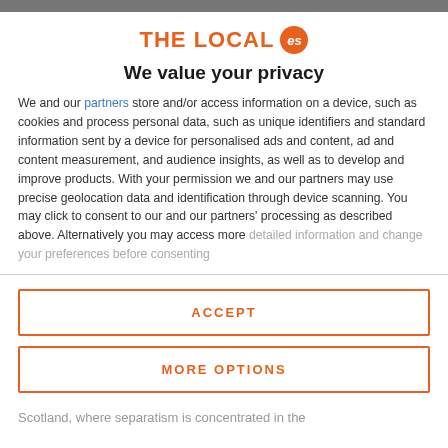[Figure (logo): THE LOCAL es logo — orange text with orange circular badge containing 'es']
We value your privacy
We and our partners store and/or access information on a device, such as cookies and process personal data, such as unique identifiers and standard information sent by a device for personalised ads and content, ad and content measurement, and audience insights, as well as to develop and improve products. With your permission we and our partners may use precise geolocation data and identification through device scanning. You may click to consent to our and our partners' processing as described above. Alternatively you may access more detailed information and change your preferences before consenting
ACCEPT
MORE OPTIONS
Scotland, where separatism is concentrated in the